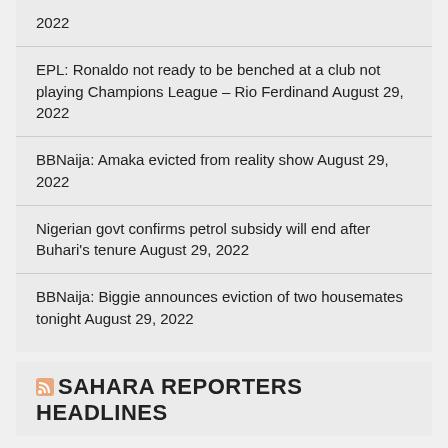2022
EPL: Ronaldo not ready to be benched at a club not playing Champions League – Rio Ferdinand August 29, 2022
BBNaija: Amaka evicted from reality show August 29, 2022
Nigerian govt confirms petrol subsidy will end after Buhari's tenure August 29, 2022
BBNaija: Biggie announces eviction of two housemates tonight August 29, 2022
SAHARA REPORTERS HEADLINES